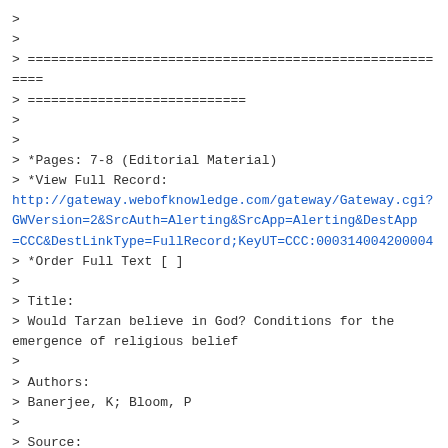>
>
========================================================
============================
>
>
> *Pages: 7-8 (Editorial Material)
> *View Full Record:
http://gateway.webofknowledge.com/gateway/Gateway.cgi?GWVersion=2&SrcAuth=Alerting&SrcApp=Alerting&DestApp=CCC&DestLinkType=FullRecord;KeyUT=CCC:000314004200004
> *Order Full Text [ ]
>
> Title:
> Would Tarzan believe in God? Conditions for the emergence of religious belief
>
> Authors:
> Banerjee, K; Bloom, P
>
> Source: